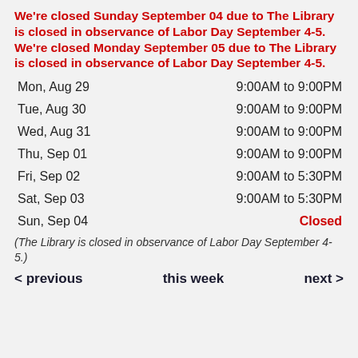We're closed Sunday September 04 due to The Library is closed in observance of Labor Day September 4-5. We're closed Monday September 05 due to The Library is closed in observance of Labor Day September 4-5.
| Day | Hours |
| --- | --- |
| Mon, Aug 29 | 9:00AM to 9:00PM |
| Tue, Aug 30 | 9:00AM to 9:00PM |
| Wed, Aug 31 | 9:00AM to 9:00PM |
| Thu, Sep 01 | 9:00AM to 9:00PM |
| Fri, Sep 02 | 9:00AM to 5:30PM |
| Sat, Sep 03 | 9:00AM to 5:30PM |
| Sun, Sep 04 | Closed |
(The Library is closed in observance of Labor Day September 4-5.)
< previous   this week   next >